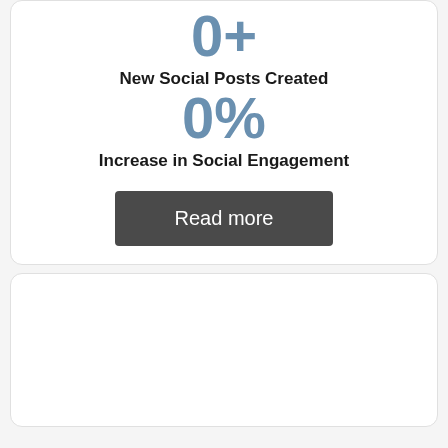0+
New Social Posts Created
0%
Increase in Social Engagement
Read more